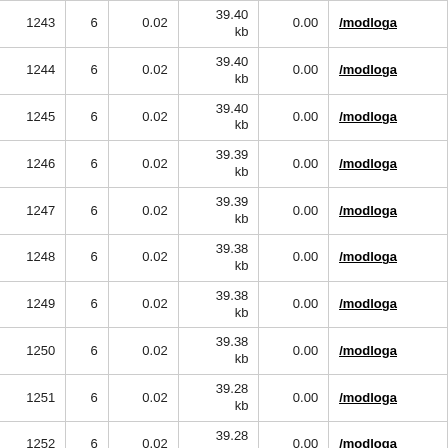|  |  |  |  |  |  |
| --- | --- | --- | --- | --- | --- |
| 1243 | 6 | 0.02 | 39.40
kb | 0.00 | /modloga |
| 1244 | 6 | 0.02 | 39.40
kb | 0.00 | /modloga |
| 1245 | 6 | 0.02 | 39.40
kb | 0.00 | /modloga |
| 1246 | 6 | 0.02 | 39.39
kb | 0.00 | /modloga |
| 1247 | 6 | 0.02 | 39.39
kb | 0.00 | /modloga |
| 1248 | 6 | 0.02 | 39.38
kb | 0.00 | /modloga |
| 1249 | 6 | 0.02 | 39.38
kb | 0.00 | /modloga |
| 1250 | 6 | 0.02 | 39.38
kb | 0.00 | /modloga |
| 1251 | 6 | 0.02 | 39.28
kb | 0.00 | /modloga |
| 1252 | 6 | 0.02 | 39.28
kb | 0.00 | /modloga |
| 1253 | 2 | 0.01 | 39.02
kb | 0.00 | /modloga |